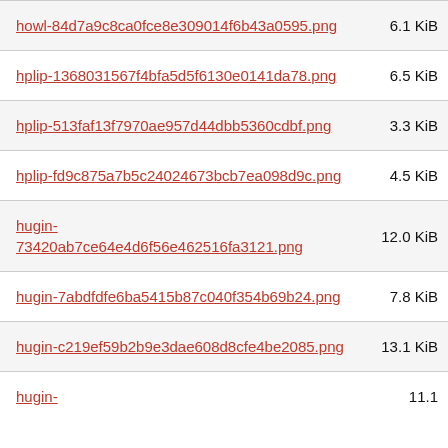| Filename | Size |
| --- | --- |
| howl-84d7a9c8ca0fce8e309014f6b43a0595.png | 6.1 KiB |
| hplip-1368031567f4bfa5d5f6130e0141da78.png | 6.5 KiB |
| hplip-513faf13f7970ae957d44dbb5360cdbf.png | 3.3 KiB |
| hplip-fd9c875a7b5c24024673bcb7ea098d9c.png | 4.5 KiB |
| hugin-73420ab7ce64e4d6f56e462516fa3121.png | 12.0 KiB |
| hugin-7abdfdfe6ba5415b87c040f354b69b24.png | 7.8 KiB |
| hugin-c219ef59b2b9e3dae608d8cfe4be2085.png | 13.1 KiB |
| hugin- | 11.1 |